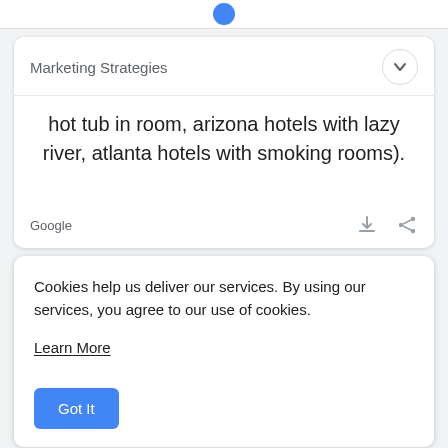Marketing Strategies
hot tub in room, arizona hotels with lazy river, atlanta hotels with smoking rooms).
Google
Cookies help us deliver our services. By using our services, you agree to our use of cookies.
Learn More
Got It
(such as, “top places to travel in the world”